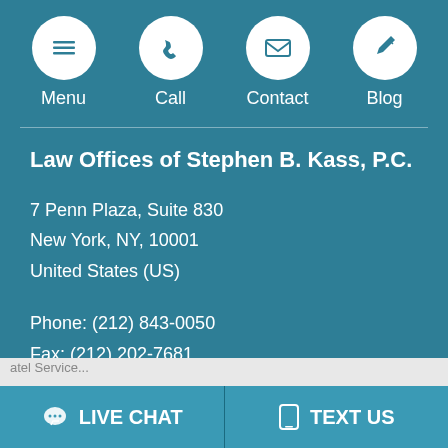Menu | Call | Contact | Blog
Law Offices of Stephen B. Kass, P.C.
7 Penn Plaza, Suite 830
New York, NY, 10001
United States (US)
Phone: (212) 843-0050
Fax: (212) 202-7681
LIVE CHAT | TEXT US